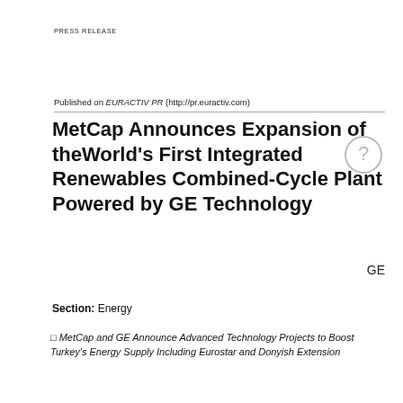PRESS RELEASE
Published on EURACTIV PR (http://pr.euractiv.com)
MetCap Announces Expansion of theWorld's First Integrated Renewables Combined-Cycle Plant Powered by GE Technology
GE
Section: Energy
□ MetCap and GE Announce Advanced Technology Projects to Boost Turkey's Energy Supply Including Eurostar and Donyish Extension